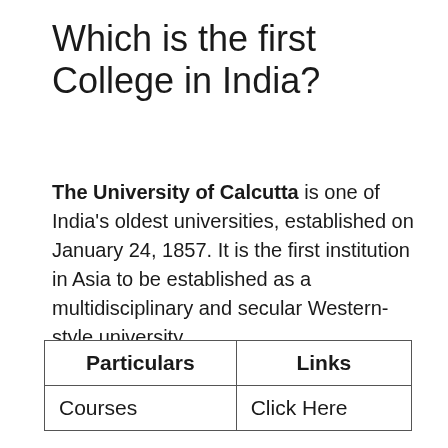Which is the first College in India?
The University of Calcutta is one of India's oldest universities, established on January 24, 1857. It is the first institution in Asia to be established as a multidisciplinary and secular Western-style university.
...
University of Calcutta.
| Particulars | Links |
| --- | --- |
| Courses | Click Here |